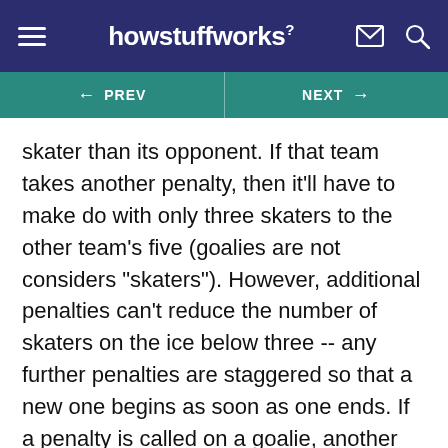howstuffworks
← PREV   NEXT →
skater than its opponent. If that team takes another penalty, then it'll have to make do with only three skaters to the other team's five (goalies are not considers "skaters"). However, additional penalties can't reduce the number of skaters on the ice below three -- any further penalties are staggered so that a new one begins as soon as one ends. If a penalty is called on a goalie, another player sits out the two minutes in his place.